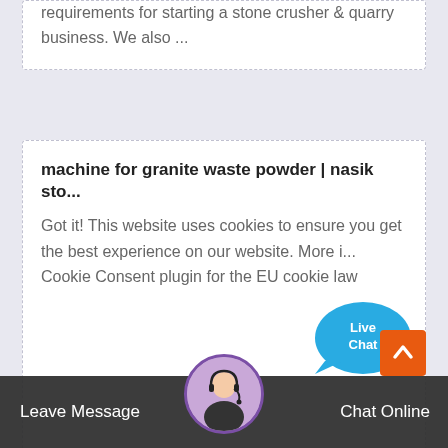requirements for starting a stone crusher & quarry business. We also ...
machine for granite waste powder | nasik sto...
Got it! This website uses cookies to ensure you get the best experience on our website. More i... Cookie Consent plugin for the EU cookie law
[Figure (other): Live Chat bubble overlay in blue with close X button]
Stone crusher-quarry crusher, aggregate cru...
Stone crusher Stone... plant Mobile crusher plant DYN G... machi... r press C...
[Figure (other): Bottom chat bar with avatar, Leave Message and Chat Online buttons, and orange scroll-up button]